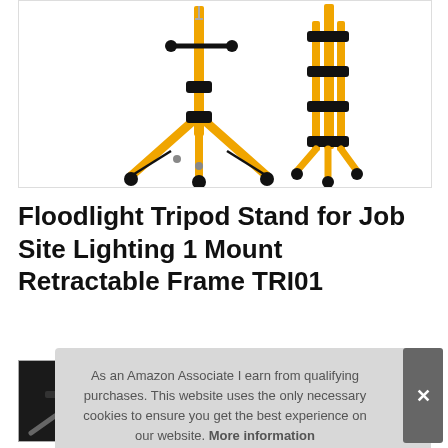[Figure (photo): Yellow floodlight tripod stand shown in two views: extended/open position on the left and collapsed/folded position on the right, against white background]
Floodlight Tripod Stand for Job Site Lighting 1 Mount Retractable Frame TRI01
[Figure (photo): Small thumbnail image of the tripod stand, dark background]
As an Amazon Associate I earn from qualifying purchases. This website uses the only necessary cookies to ensure you get the best experience on our website. More information